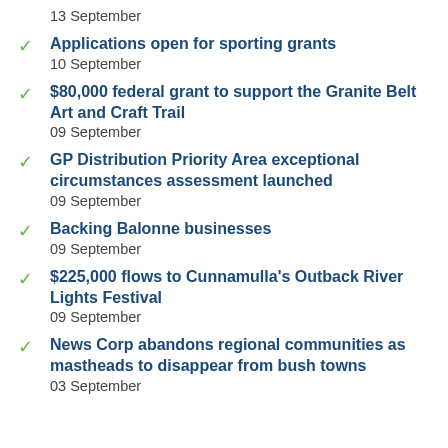13 September
Applications open for sporting grants
10 September
$80,000 federal grant to support the Granite Belt Art and Craft Trail
09 September
GP Distribution Priority Area exceptional circumstances assessment launched
09 September
Backing Balonne businesses
09 September
$225,000 flows to Cunnamulla's Outback River Lights Festival
09 September
News Corp abandons regional communities as mastheads to disappear from bush towns
03 September